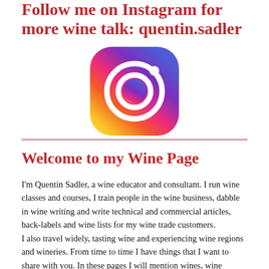Follow me on Instagram for more wine talk: quentin.sadler
[Figure (logo): Instagram logo icon with gradient background (purple to orange/yellow) and white camera icon]
Welcome to my Wine Page
I'm Quentin Sadler, a wine educator and consultant. I run wine classes and courses, I train people in the wine business, dabble in wine writing and write technical and commercial articles, back-labels and wine lists for my wine trade customers.
I also travel widely, tasting wine and experiencing wine regions and wineries. From time to time I have things that I want to share with you. In these pages I will mention wines, wine events, trips that I make as well as details of restaurants and meals that I have enjoyed or anything about